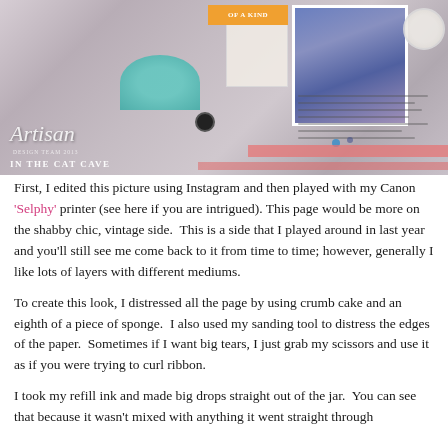[Figure (photo): Scrapbook layout photo showing a smiling child in a pink hat, teal bowl embellishment, handwritten journaling, pink decorative strips, flower embellishment, and orange tag. Artisan Design Team 2013 and 'In The Cat Cave' watermark overlaid.]
First, I edited this picture using Instagram and then played with my Canon 'Selphy' printer (see here if you are intrigued). This page would be more on the shabby chic, vintage side.  This is a side that I played around in last year and you'll still see me come back to it from time to time; however, generally I like lots of layers with different mediums.
To create this look, I distressed all the page by using crumb cake and an eighth of a piece of sponge.  I also used my sanding tool to distress the edges of the paper.  Sometimes if I want big tears, I just grab my scissors and use it as if you were trying to curl ribbon.
I took my refill ink and made big drops straight out of the jar.  You can see that because it wasn't mixed with anything it went straight through